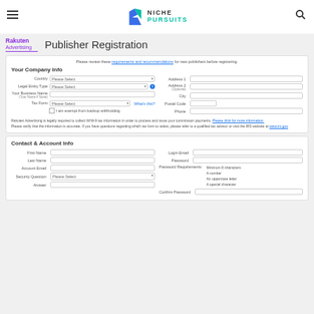Niche Pursuits
[Figure (logo): Rakuten Advertising logo]
Publisher Registration
Please review these requirements and recommendations for new publishers before registering.
Your Company Info
Country, Legal Entity Type, Your Business Name, Tax Form, Address 1, Address 2, City, Postal Code, Phone fields
Rakuten Advertising is legally required to collect W/W-9 tax information in order to process and issue your commission payments. Please click for more information. Please verify that the information is accurate. If you have questions regarding which tax form to select, please refer to a qualified tax advisor or visit the IRS website at www.irs.gov
Contact & Account Info
First Name, Last Name, Account Email, Security Question, Answer, Login Email, Password, Password Requirements, Confirm Password fields